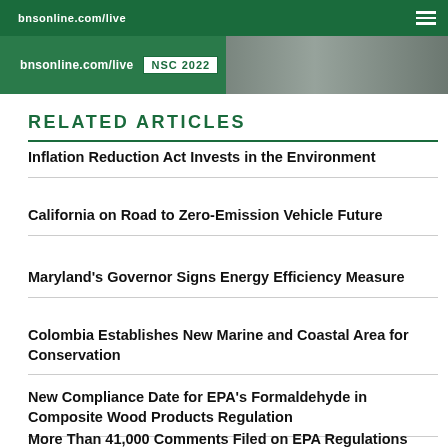bnsonline.com/live  NSC 2022
RELATED ARTICLES
Inflation Reduction Act Invests in the Environment
California on Road to Zero-Emission Vehicle Future
Maryland's Governor Signs Energy Efficiency Measure
Colombia Establishes New Marine and Coastal Area for Conservation
New Compliance Date for EPA's Formaldehyde in Composite Wood Products Regulation
More Than 41,000 Comments Filed on EPA Regulations Repeal